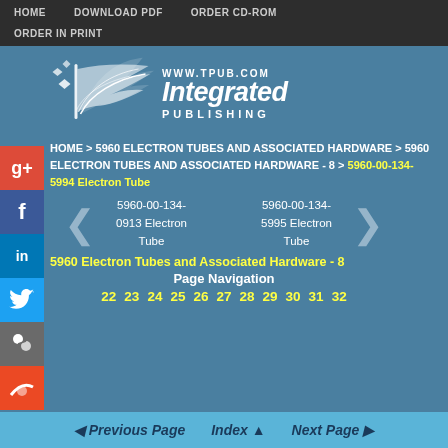HOME | DOWNLOAD PDF | ORDER CD-ROM | ORDER IN PRINT
[Figure (logo): Integrated Publishing logo with bird/wing graphic, www.tpub.com, Integrated Publishing text]
HOME > 5960 ELECTRON TUBES AND ASSOCIATED HARDWARE > 5960 ELECTRON TUBES AND ASSOCIATED HARDWARE - 8 > 5960-00-134-5994 Electron Tube
5960-00-134-0913 Electron Tube | 5960-00-134-5995 Electron Tube
5960 Electron Tubes and Associated Hardware - 8
Page Navigation
22 23 24 25 26 27 28 29 30 31 32
Previous Page   Index   Next Page